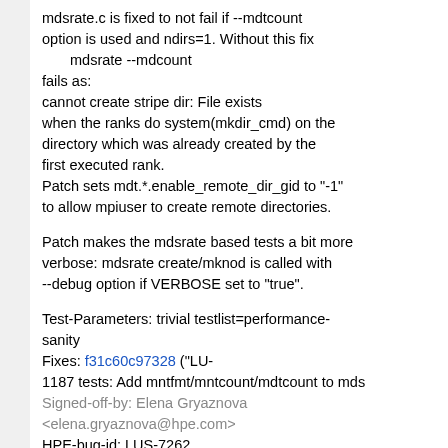mdsrate.c is fixed to not fail if --mdtcount option is used and ndirs=1. Without this fix
  mdsrate --mdcount
fails as:
cannot create stripe dir: File exists
when the ranks do system(mkdir_cmd) on the directory which was already created by the first executed rank.

Patch sets mdt.*.enable_remote_dir_gid to "-1" to allow mpiuser to create remote directories.

Patch makes the mdsrate based tests a bit more verbose: mdsrate create/mknod is called with --debug option if VERBOSE set to "true".

Test-Parameters: trivial testlist=performance-sanity
Fixes: f31c60c97328 ("LU-1187 tests: Add mntfmt/mntcount/mdtcount to mds
Signed-off-by: Elena Gryaznova <elena.gryaznova@hpe.com>
HPE-bug-id: LUS-7262
Reviewed-by: Vladimir Saveliev <vlaidimir.saveliev@hpe.com>
Reviewed-by: Alexander Boyko <alexander.boyko@hpe.com>
Change-Id: Ieb32ad7dfad838fc9124740236889a5fe47cb90
Reviewed